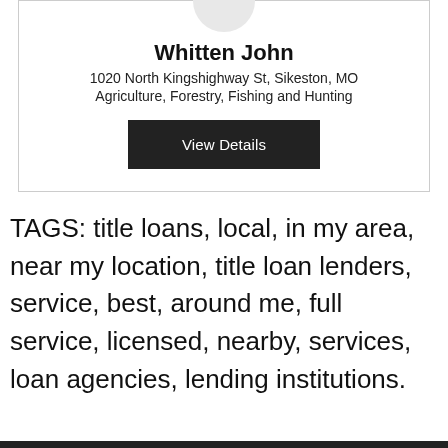[Figure (illustration): Circular avatar placeholder image, light grey circle]
Whitten John
1020 North Kingshighway St, Sikeston, MO
Agriculture, Forestry, Fishing and Hunting
View Details
TAGS: title loans, local, in my area, near my location, title loan lenders, service, best, around me, full service, licensed, nearby, services, loan agencies, lending institutions.